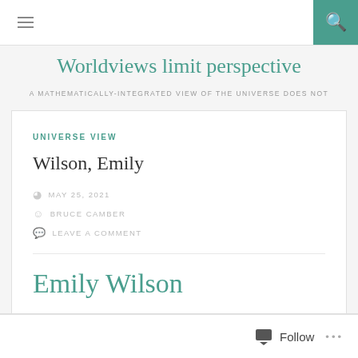≡  [search icon]
Worldviews limit perspective
A MATHEMATICALLY-INTEGRATED VIEW OF THE UNIVERSE DOES NOT
UNIVERSE VIEW
Wilson, Emily
MAY 25, 2021
BRUCE CAMBER
LEAVE A COMMENT
Emily Wilson
Follow  ...